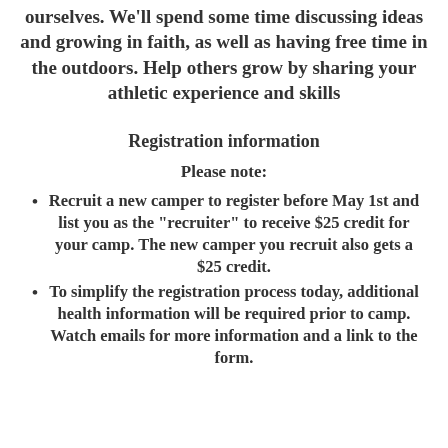ourselves. We'll spend some time discussing ideas and growing in faith, as well as having free time in the outdoors. Help others grow by sharing your athletic experience and skills
Registration information
Please note:
Recruit a new camper to register before May 1st and list you as the "recruiter" to receive $25 credit for your camp. The new camper you recruit also gets a $25 credit.
To simplify the registration process today, additional health information will be required prior to camp. Watch emails for more information and a link to the form.